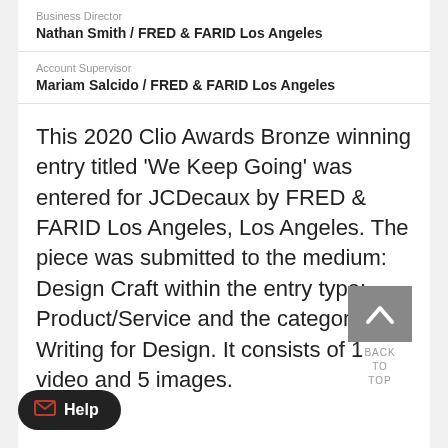Business Director
Nathan Smith / FRED & FARID Los Angeles
Account Supervisor
Mariam Salcido / FRED & FARID Los Angeles
This 2020 Clio Awards Bronze winning entry titled 'We Keep Going' was entered for JCDecaux by FRED & FARID Los Angeles, Los Angeles. The piece was submitted to the medium: Design Craft within the entry type: Product/Service and the category: Writing for Design. It consists of 1 video and 5 images.